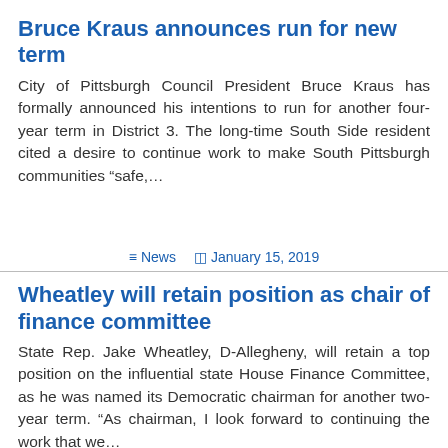Bruce Kraus announces run for new term
City of Pittsburgh Council President Bruce Kraus has formally announced his intentions to run for another four-year term in District 3. The long-time South Side resident cited a desire to continue work to make South Pittsburgh communities “safe,…
≡ News  ⊡ January 15, 2019
Wheatley will retain position as chair of finance committee
State Rep. Jake Wheatley, D-Allegheny, will retain a top position on the influential state House Finance Committee, as he was named its Democratic chairman for another two-year term. “As chairman, I look forward to continuing the work that we…